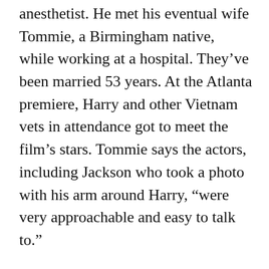anesthetist. He met his eventual wife Tommie, a Birmingham native, while working at a hospital. They've been married 53 years. At the Atlanta premiere, Harry and other Vietnam vets in attendance got to meet the film's stars. Tommie says the actors, including Jackson who took a photo with his arm around Harry, “were very approachable and easy to talk to.”
“The Last Full Measure” was Fonda’s final film. In it, the “Easy Rider” icon portrays a veteran with a damaged soul. Robinson remembers Fonda as “a really sensitive lovely guy who suffered from his own post-traumatic stress from issues he had to